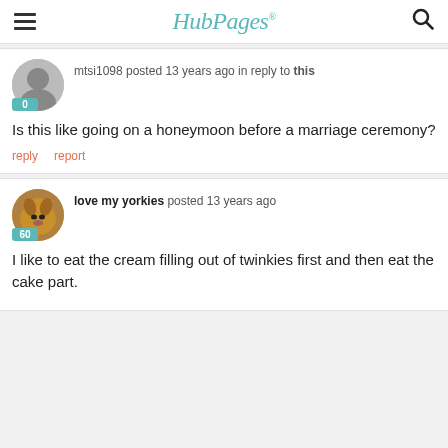HubPages
mtsi1098 posted 13 years ago in reply to this
Is this like going on a honeymoon before a marriage ceremony?
reply   report
love my yorkies posted 13 years ago
I like to eat the cream filling out of twinkies first and then eat the cake part.